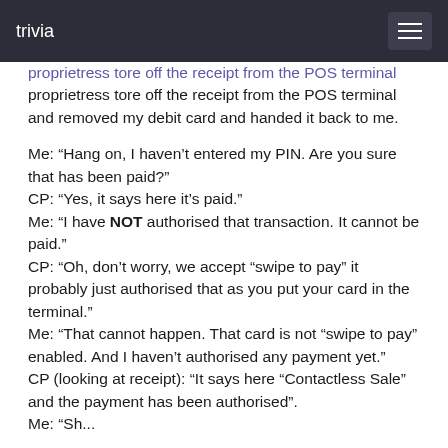trivia
proprietress tore off the receipt from the POS terminal and removed my debit card and handed it back to me.

Me: “Hang on, I haven’t entered my PIN. Are you sure that has been paid?”
CP: “Yes, it says here it’s paid.”
Me: “I have NOT authorised that transaction. It cannot be paid.”
CP: “Oh, don’t worry, we accept “swipe to pay” it probably just authorised that as you put your card in the terminal.”
Me: “That cannot happen. That card is not “swipe to pay” enabled. And I haven’t authorised any payment yet.”
CP (looking at receipt): “It says here “Contactless Sale” and the payment has been authorised”.
Me: “Sh...